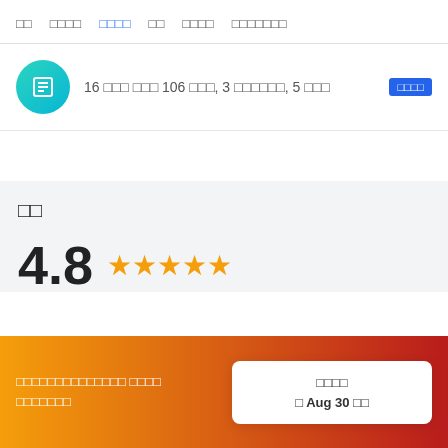□□  □□□□  □□□□  □□  □□□□  □□□□□□□
16 □□□ □□□ 106 □□□, 3 □□□□□□, 5 □□□  □□□□
□□
4.8 ★★★★★
□□□□□□□□□□□□□□ □□□□ □□□□□□□
□□□□
□ Aug 30 □□